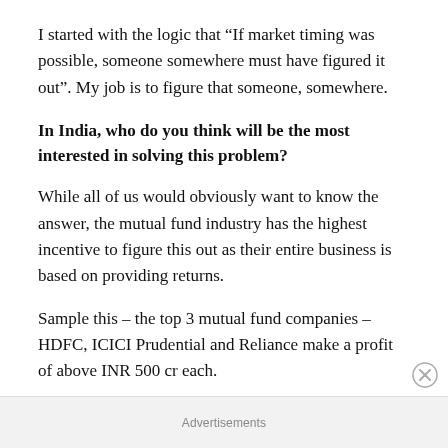I started with the logic that “If market timing was possible, someone somewhere must have figured it out”. My job is to figure that someone, somewhere.
In India, who do you think will be the most interested in solving this problem?
While all of us would obviously want to know the answer, the mutual fund industry has the highest incentive to figure this out as their entire business is based on providing returns.
Sample this – the top 3 mutual fund companies – HDFC, ICICI Prudential and Reliance make a profit of above INR 500 cr each.
Advertisements